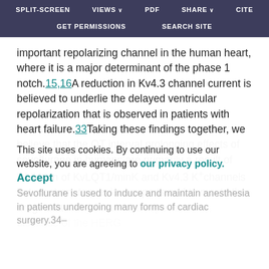SPLIT-SCREEN   VIEWS   PDF   SHARE   CITE   GET PERMISSIONS   SEARCH SITE
important repolarizing channel in the human heart, where it is a major determinant of the phase 1 notch.15,16A reduction in Kv4.3 channel current is believed to underlie the delayed ventricular repolarization that is observed in patients with heart failure.33Taking these findings together, we believe that the QT interval prolonging effects of sevoflurane in humans are primarily a result of inhibition of KvLQT1/minK and Kv4.3 K+ channels but, contrary to previous reports and to most other drugs that delay ventricular repolarization, blockade of the HERG
This site uses cookies. By continuing to use our website, you are agreeing to our privacy policy. Accept
Sevoflurane is used to induce and maintain anesthesia in patients undergoing many forms of cardiac surgery.34–